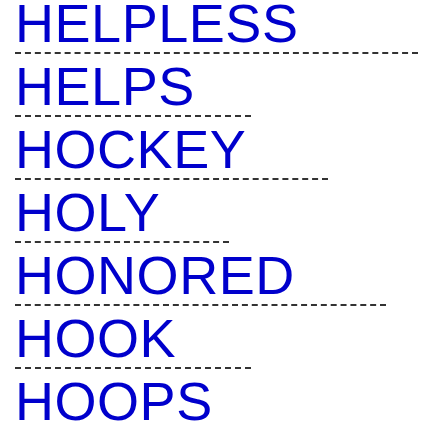HELPLESS
HELPS
HOCKEY
HOLY
HONORED
HOOK
HOOPS